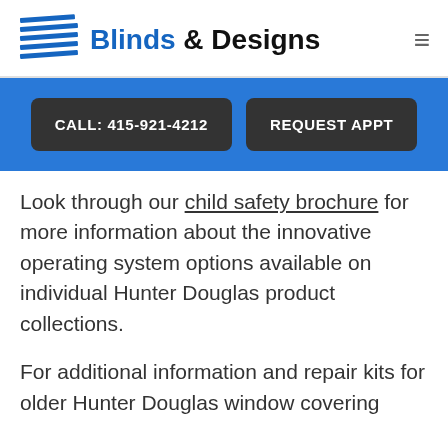Blinds & Designs
CALL: 415-921-4212   REQUEST APPT
Look through our child safety brochure for more information about the innovative operating system options available on individual Hunter Douglas product collections.
For additional information and repair kits for older Hunter Douglas window covering